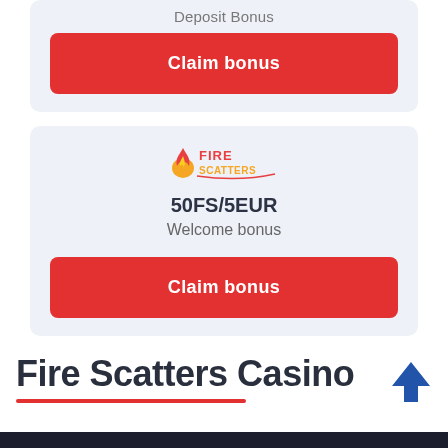Deposit Bonus
Claim bonus
[Figure (logo): Fire Scatters casino logo with flame icon and stylized text]
50FS/5EUR
Welcome bonus
Claim bonus
Fire Scatters Casino